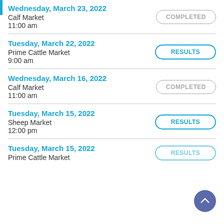Wednesday, March 23, 2022 | Calf Market | 11:00 am | COMPLETED
Tuesday, March 22, 2022 | Prime Cattle Market | 9:00 am | RESULTS
Wednesday, March 16, 2022 | Calf Market | 11:00 am | COMPLETED
Tuesday, March 15, 2022 | Sheep Market | 12:00 pm | RESULTS
Tuesday, March 15, 2022 | Prime Cattle Market | RESULTS